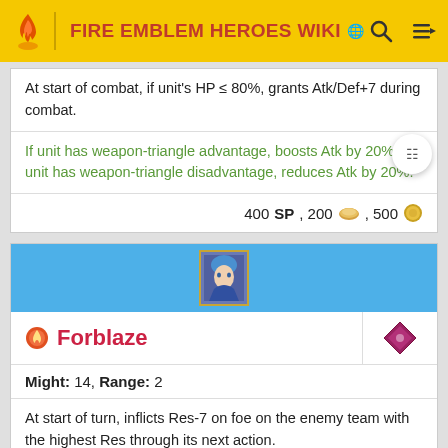FIRE EMBLEM HEROES WIKI
At start of combat, if unit's HP ≤ 80%, grants Atk/Def+7 during combat.
If unit has weapon-triangle advantage, boosts Atk by 20%. If unit has weapon-triangle disadvantage, reduces Atk by 20%.
400 SP, 200 , 500
[Figure (screenshot): Forblaze hero icon in blue header]
Forblaze
Might: 14, Range: 2
At start of turn, inflicts Res-7 on foe on the enemy team with the highest Res through its next action.
If unit initiates combat, grants Atk+6 during combat.